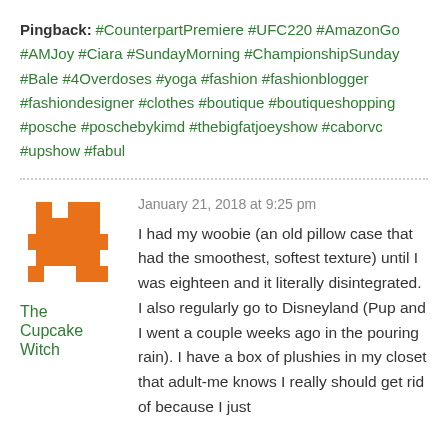Pingback: #CounterpartPremiere #UFC220 #AmazonGo #AMJoy #Ciara #SundayMorning #ChampionshipSunday #Bale #4Overdoses #yoga #fashion #fashionblogger #fashiondesigner #clothes #boutique #boutiqueshopping #posche #poschebykimd #thebigfatjoeyshow #caborvc #upshow #fabul
January 21, 2018 at 9:25 pm
[Figure (illustration): Orange pixel-art style avatar icon (The Cupcake Witch)]
The Cupcake Witch
I had my woobie (an old pillow case that had the smoothest, softest texture) until I was eighteen and it literally disintegrated. I also regularly go to Disneyland (Pup and I went a couple weeks ago in the pouring rain). I have a box of plushies in my closet that adult-me knows I really should get rid of because I just